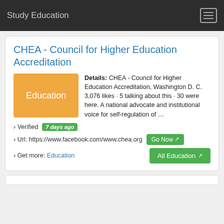Study Education
CHEA - Council for Higher Education Accreditation
Details: CHEA - Council for Higher Education Accreditation, Washington D. C. 3,076 likes · 5 talking about this · 30 were here. A national advocate and institutional voice for self-regulation of …
› Verified 7 days ago
› Url: https://www.facebook.com/www.chea.org Go Now
› Get more: Education All Education